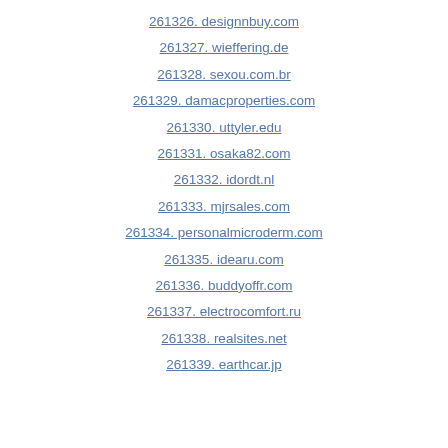261326. designnbuy.com
261327. wieffering.de
261328. sexou.com.br
261329. damacproperties.com
261330. uttyler.edu
261331. osaka82.com
261332. idordt.nl
261333. mjrsales.com
261334. personalmicroderm.com
261335. idearu.com
261336. buddyoffr.com
261337. electrocomfort.ru
261338. realsites.net
261339. earthcar.jp